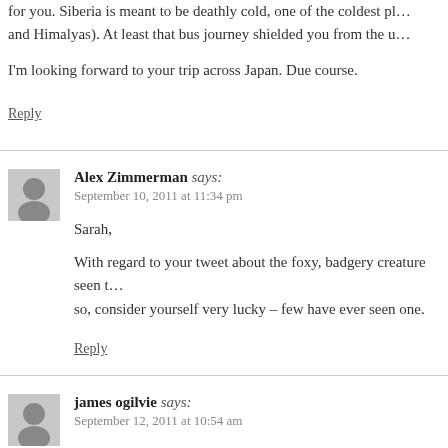for you. Siberia is meant to be deathly cold, one of the coldest places (and Himalyas). At least that bus journey shielded you from the u…

I'm looking forward to your trip across Japan. Due course.
Reply
Alex Zimmerman says:
September 10, 2011 at 11:34 pm
Sarah,
With regard to your tweet about the foxy, badgery creature seen t… so, consider yourself very lucky – few have ever seen one.
Reply
james ogilvie says:
September 12, 2011 at 10:54 am
Seems like no man's land' turned out to be 'no woman's land'. It's…